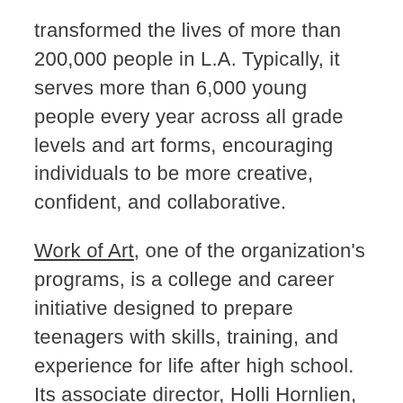transformed the lives of more than 200,000 people in L.A. Typically, it serves more than 6,000 young people every year across all grade levels and art forms, encouraging individuals to be more creative, confident, and collaborative.
Work of Art, one of the organization's programs, is a college and career initiative designed to prepare teenagers with skills, training, and experience for life after high school. Its associate director, Holli Hornlien, said, “Right now, arts and education nonprofits across the country are being tested by the enormous upheaval and stress of COVID. Like